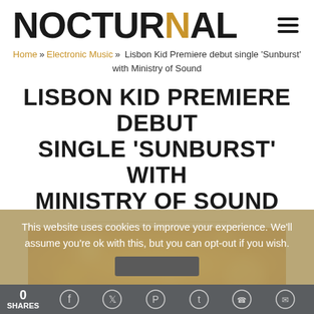NOCTURNAL
Home » Electronic Music » Lisbon Kid Premiere debut single 'Sunburst' with Ministry of Sound
LISBON KID PREMIERE DEBUT SINGLE 'SUNBURST' WITH MINISTRY OF SOUND
[Figure (photo): Golden bokeh/sunburst blurred background image in orange and gold tones]
This website uses cookies to improve your experience. We'll assume you're ok with this, but you can opt-out if you wish.
0 SHARES | Social share icons: Facebook, Twitter, Pinterest, Tumblr, WhatsApp, Messenger